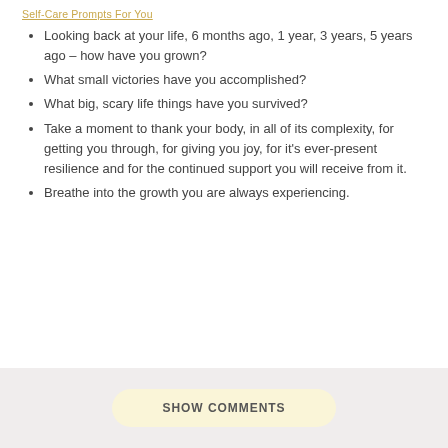Self-Care Prompts For You
Looking back at your life, 6 months ago, 1 year, 3 years, 5 years ago – how have you grown?
What small victories have you accomplished?
What big, scary life things have you survived?
Take a moment to thank your body, in all of its complexity, for getting you through, for giving you joy, for it's ever-present resilience and for the continued support you will receive from it.
Breathe into the growth you are always experiencing.
SHOW COMMENTS